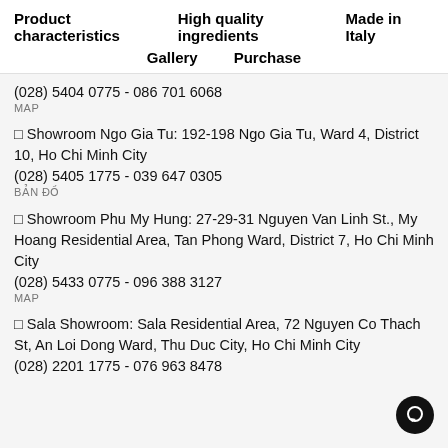Product characteristics   High quality ingredients   Made in Italy
Gallery   Purchase
(028) 5404 0775 - 086 701 6068
MAP
□ Showroom Ngo Gia Tu: 192-198 Ngo Gia Tu, Ward 4, District 10, Ho Chi Minh City
(028) 5405 1775 - 039 647 0305
BẢN ĐỒ
□ Showroom Phu My Hung: 27-29-31 Nguyen Van Linh St., My Hoang Residential Area, Tan Phong Ward, District 7, Ho Chi Minh City
(028) 5433 0775 - 096 388 3127
MAP
□ Sala Showroom: Sala Residential Area, 72 Nguyen Co Thach St, An Loi Dong Ward, Thu Duc City, Ho Chi Minh City
(028) 2201 1775 - 076 963 8478